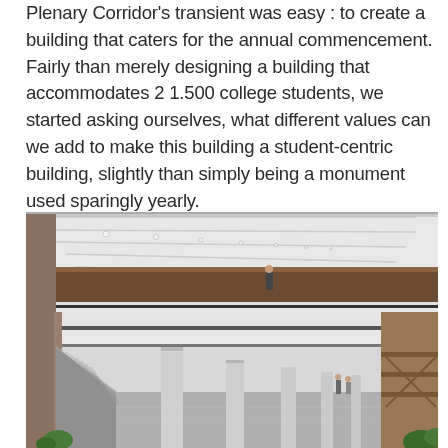Plenary Corridor's transient was easy : to create a building that caters for the annual commencement. Fairly than merely designing a building that accommodates 2 1.500 college students, we started asking ourselves, what different values can we add to make this building a student-centric building, slightly than simply being a monument used sparingly yearly.
[Figure (photo): Interior architectural rendering of the Plenary Corridor showing a wide modern hallway with escalators on the left, cylindrical white columns, recessed ceiling lights, and a mezzanine level with wood-paneled railings. A person stands on the upper level, and two people are visible at ground level near the far end.]